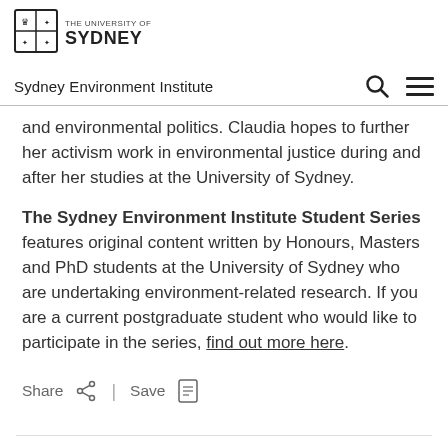[Figure (logo): University of Sydney crest/shield logo with text 'THE UNIVERSITY OF SYDNEY']
Sydney Environment Institute
and environmental politics. Claudia hopes to further her activism work in environmental justice during and after her studies at the University of Sydney.
The Sydney Environment Institute Student Series features original content written by Honours, Masters and PhD students at the University of Sydney who are undertaking environment-related research. If you are a current postgraduate student who would like to participate in the series, find out more here.
Share | Save